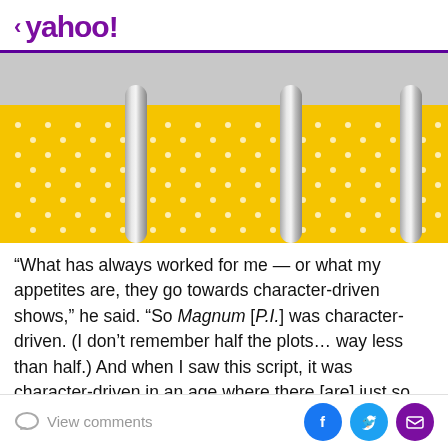< yahoo!
[Figure (photo): Close-up photo of silver metallic fork tines against a yellow polka-dot background]
“What has always worked for me — or what my appetites are, they go towards character-driven shows,” he said. “So Magnum [P.I.] was character-driven. (I don’t remember half the plots… way less than half.) And when I saw this script, it was character-driven in an age where there [are] just so many procedurals on… I’m sure not
View comments